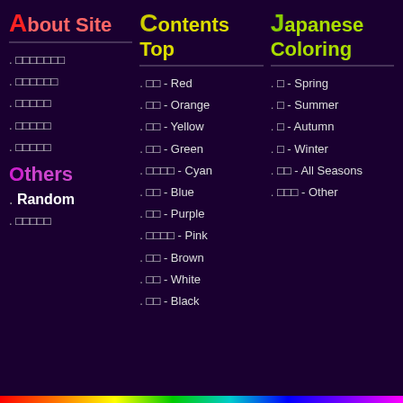About Site
□□□□□□□
□□□□□□
□□□□□
□□□□□
□□□□□
Others
Random
□□□□□
Contents Top
□□ - Red
□□ - Orange
□□ - Yellow
□□ - Green
□□□□ - Cyan
□□ - Blue
□□ - Purple
□□□□ - Pink
□□ - Brown
□□ - White
□□ - Black
Japanese Coloring
□ - Spring
□ - Summer
□ - Autumn
□ - Winter
□□ - All Seasons
□□□ - Other